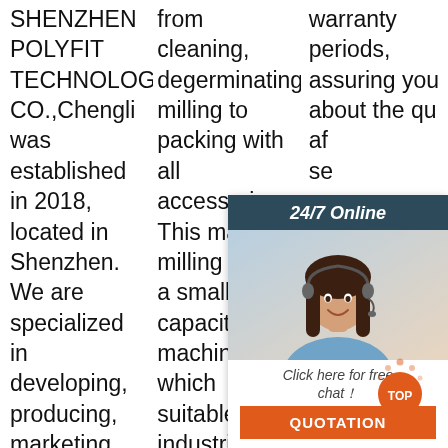SHENZHEN POLYFIT TECHNOLOGY CO.,Chengli was established in 2018, located in Shenzhen. We are specialized in developing, producing, marketing financial equipment, such as, money
from cleaning, degerminating, milling to packing with all accessories. This maize milling line is a small capacity machine which suitable for industrial production. This maize milling machine can produce super maize meal, refined
warranty periods, assuring you about the qu... af... se... po... en... va... wi... m... have a flexible feeding capacity. Spare parts of these. maize cutter
[Figure (other): 24/7 Online chat widget overlay with a customer service representative photo, 'Click here for free chat!' text, and QUOTATION button]
[Figure (other): Orange TOP scroll-to-top button with decorative dots]